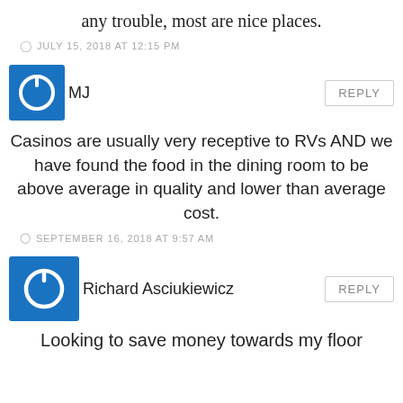any trouble, most are nice places.
JULY 15, 2018 AT 12:15 PM
[Figure (other): Blue square avatar with white power button icon, next to username MJ, with REPLY button]
Casinos are usually very receptive to RVs AND we have found the food in the dining room to be above average in quality and lower than average cost.
SEPTEMBER 16, 2018 AT 9:57 AM
[Figure (other): Blue square avatar with white power button icon, next to username Richard Asciukiewicz, with REPLY button]
Looking to save money towards my floor